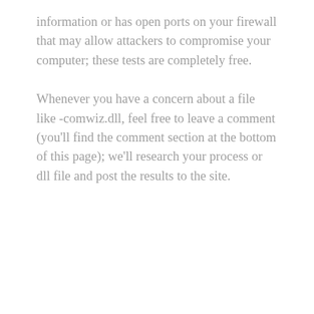information or has open ports on your firewall that may allow attackers to compromise your computer; these tests are completely free.
Whenever you have a concern about a file like -comwiz.dll, feel free to leave a comment (you'll find the comment section at the bottom of this page); we'll research your process or dll file and post the results to the site.